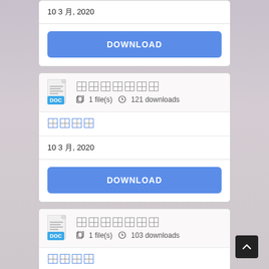10 3 月, 2020
DOWNLOAD
[Figure (other): Document card with DOC icon, redacted title (7 boxes), 1 file(s), 121 downloads]
□□□□ (redacted category, 4 boxes)
10 3 月, 2020
DOWNLOAD
[Figure (other): Document card with DOC icon, redacted title (7 boxes), 1 file(s), 103 downloads]
□□□□ (redacted category, 4 boxes)